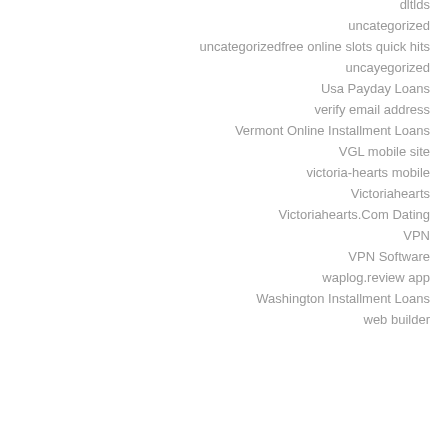dltlds
uncategorized
uncategorizedfree online slots quick hits
uncayegorized
Usa Payday Loans
verify email address
Vermont Online Installment Loans
VGL mobile site
victoria-hearts mobile
Victoriahearts
Victoriahearts.Com Dating
VPN
VPN Software
waplog.review app
Washington Installment Loans
web builder